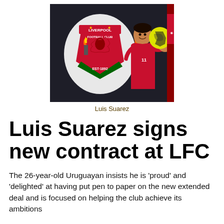[Figure (photo): Luis Suarez in Liverpool FC red training kit holding a yellow football, standing next to the Liverpool Football Club crest (EST 1892) on a dark wall]
Luis Suarez
Luis Suarez signs new contract at LFC
The 26-year-old Uruguayan insists he is 'proud' and 'delighted' at having put pen to paper on the new extended deal and is focused on helping the club achieve its ambitions